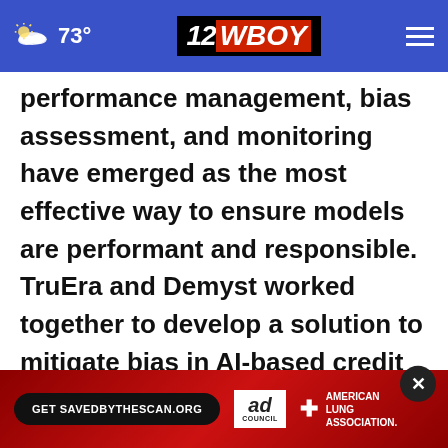73° | 12WBOY
performance management, bias assessment, and monitoring have emerged as the most effective way to ensure models are performant and responsible. TruEra and Demyst worked together to develop a solution to mitigate bias in AI-based credit decisioning models, such as those used by financial services companies. The solution reduced the potential for bias against minority applicants by 30 percent, while improving the overall accuracy of the appli
[Figure (infographic): Ad banner: Get SAVEDBYTHESCAN.ORG - Ad Council - American Lung Association]